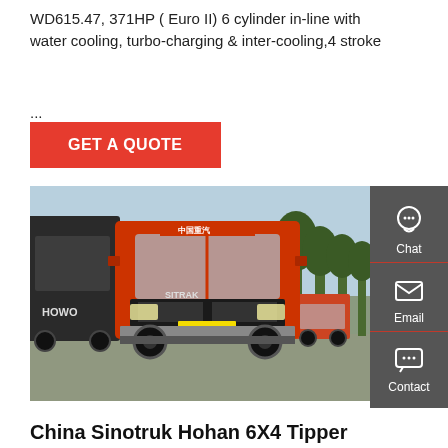WD615.47, 371HP ( Euro II) 6 cylinder in-line with water cooling, turbo-charging & inter-cooling,4 stroke
...
GET A QUOTE
[Figure (photo): Photo of a red Sinotruk Hohan 6x4 tipper truck parked in a lot alongside other trucks, with trees visible in the background. The main truck is orange-red with a SITRAK/HOHAN logo on the front.]
China Sinotruk Hohan 6X4 Tipper